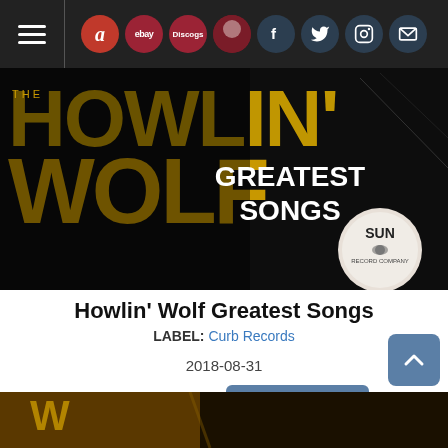Navigation bar with hamburger menu and icons: Amazon, eBay, Discogs, and social media icons (Facebook, Twitter, Instagram, Mail)
[Figure (photo): Howlin' Wolf Greatest Songs album cover — dark background with large yellow text 'HOWLIN' WOLF' and white text 'GREATEST SONGS', Sun Record Company logo visible in lower right]
Howlin' Wolf Greatest Songs
LABEL: Curb Records
2018-08-31
MP3 Album: $11.49  DOWNLOAD
[Figure (photo): Bottom strip showing partial view of another album cover with yellow/gold tones]